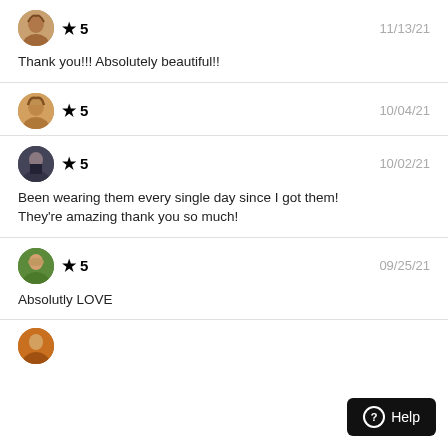[Figure (photo): User avatar 1 - woman with long hair]
★ 5    11/13/21
Thank you!!! Absolutely beautiful!!
[Figure (photo): User avatar 2 - woman]
★ 5    10/04/21
[Figure (photo): User avatar 3 - woman in dark jacket]
★ 5    10/02/21
Been wearing them every single day since I got them! They're amazing thank you so much!
[Figure (photo): User avatar 4 - woman with green background]
★ 5    09/25/21
Absolutly LOVE
[Figure (photo): User avatar 5 - partial view at bottom]